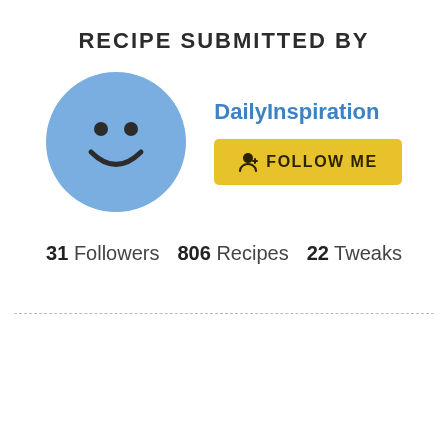RECIPE SUBMITTED BY
[Figure (illustration): Round blue smiley face avatar icon with two dot eyes and a curved smile mouth on a light blue circle background]
DailyInspiration
FOLLOW ME
31 Followers   806 Recipes   22 Tweaks